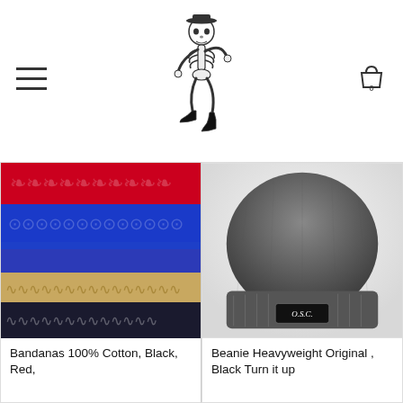[Figure (logo): Walking skeleton mascot logo in black and white, wearing a cap]
[Figure (illustration): Hamburger menu icon (three horizontal lines) on the left side of the header]
[Figure (illustration): Shopping cart icon with '0' badge on the right side of the header]
[Figure (photo): Stack of folded bandanas in red, blue, tan/beige, and black/white paisley patterns]
Bandanas 100% Cotton, Black, Red,
[Figure (photo): Black knit beanie hat with OSC logo patch on the cuff]
Beanie Heavyweight Original , Black Turn it up